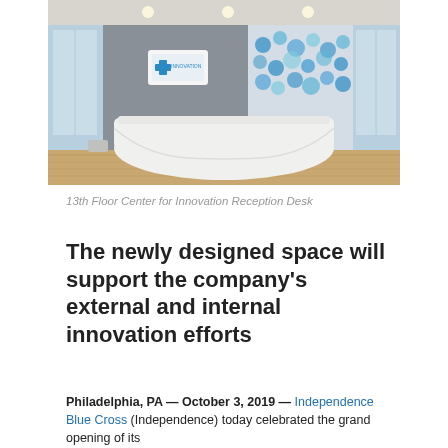[Figure (photo): Interior photo of the 13th Floor Center for Innovation reception desk — a curved white modern reception desk on wood-look flooring, with colorful wall art and windows in the background, and a logo sign on the wall behind the desk.]
13th Floor Center for Innovation Reception Desk
The newly designed space will support the company's external and internal innovation efforts
Philadelphia, PA — October 3, 2019 — Independence Blue Cross (Independence) today celebrated the grand opening of its